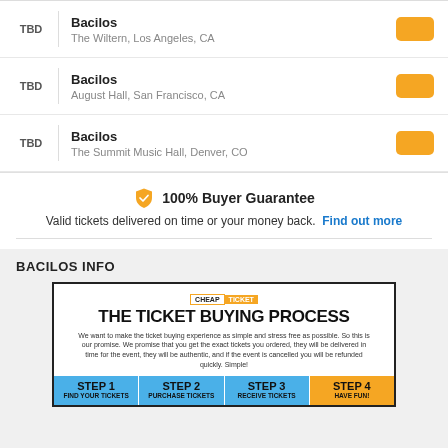TBD | Bacilos — The Wiltern, Los Angeles, CA
TBD | Bacilos — August Hall, San Francisco, CA
TBD | Bacilos — The Summit Music Hall, Denver, CO
100% Buyer Guarantee
Valid tickets delivered on time or your money back. Find out more
BACILOS INFO
[Figure (infographic): CheapTicket infographic showing 'THE TICKET BUYING PROCESS' with four steps: Step 1 Find Your Tickets, Step 2 Purchase Tickets, Step 3 Receive Tickets, Step 4 Have Fun!]